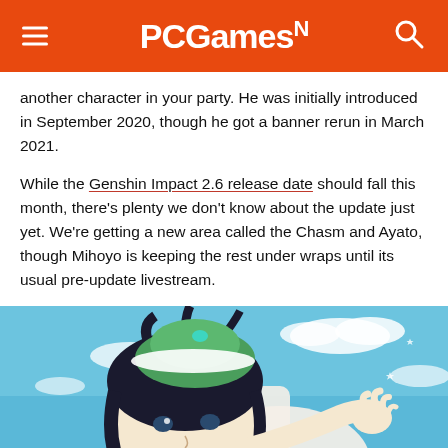PCGamesN
another character in your party. He was initially introduced in September 2020, though he got a banner rerun in March 2021.
While the Genshin Impact 2.6 release date should fall this month, there’s plenty we don’t know about the update just yet. We’re getting a new area called the Chasm and Ayato, though Mihoyo is keeping the rest under wraps until its usual pre-update livestream.
[Figure (photo): Anime-style character from Genshin Impact with dark hair and green hat, extending hand outward against a blue sky with clouds background.]